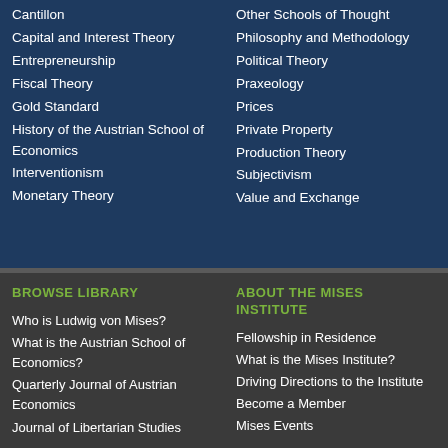Cantillon
Capital and Interest Theory
Entrepreneurship
Fiscal Theory
Gold Standard
History of the Austrian School of Economics
Interventionism
Monetary Theory
Other Schools of Thought
Philosophy and Methodology
Political Theory
Praxeology
Prices
Private Property
Production Theory
Subjectivism
Value and Exchange
BROWSE LIBRARY
Who is Ludwig von Mises?
What is the Austrian School of Economics?
Quarterly Journal of Austrian Economics
Journal of Libertarian Studies
ABOUT THE MISES INSTITUTE
Fellowship in Residence
What is the Mises Institute?
Driving Directions to the Institute
Become a Member
Mises Events